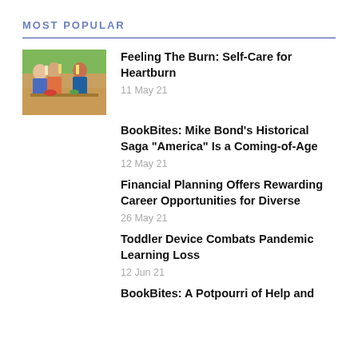MOST POPULAR
Feeling The Burn: Self-Care for Heartburn
11 May 21
BookBites: Mike Bond's Historical Saga "America" Is a Coming-of-Age
12 May 21
Financial Planning Offers Rewarding Career Opportunities for Diverse
26 May 21
Toddler Device Combats Pandemic Learning Loss
12 Jun 21
BookBites: A Potpourri of Help and...